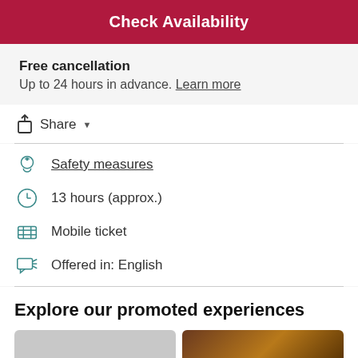Check Availability
Free cancellation
Up to 24 hours in advance. Learn more
Share
Safety measures
13 hours (approx.)
Mobile ticket
Offered in: English
Explore our promoted experiences